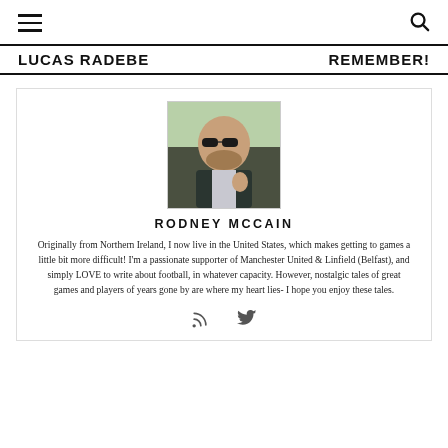LUCAS RADEBE | REMEMBER!
[Figure (photo): Profile photo of Rodney McCain, a man with sunglasses and a beard, wearing a dark vest, outdoors]
RODNEY MCCAIN
Originally from Northern Ireland, I now live in the United States, which makes getting to games a little bit more difficult! I'm a passionate supporter of Manchester United & Linfield (Belfast), and simply LOVE to write about football, in whatever capacity. However, nostalgic tales of great games and players of years gone by are where my heart lies- I hope you enjoy these tales.
[Figure (other): RSS feed icon and Twitter bird icon social media links]